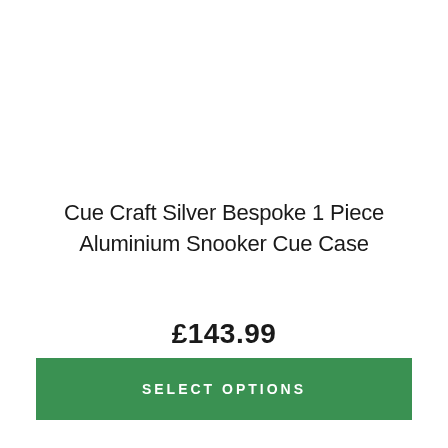Cue Craft Silver Bespoke 1 Piece Aluminium Snooker Cue Case
£143.99
SELECT OPTIONS